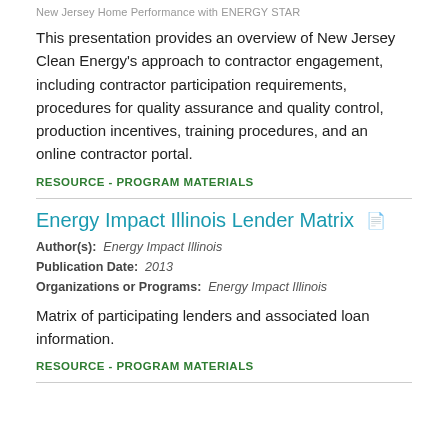New Jersey Home Performance with ENERGY STAR
This presentation provides an overview of New Jersey Clean Energy's approach to contractor engagement, including contractor participation requirements, procedures for quality assurance and quality control, production incentives, training procedures, and an online contractor portal.
RESOURCE - PROGRAM MATERIALS
Energy Impact Illinois Lender Matrix
Author(s): Energy Impact Illinois
Publication Date: 2013
Organizations or Programs: Energy Impact Illinois
Matrix of participating lenders and associated loan information.
RESOURCE - PROGRAM MATERIALS